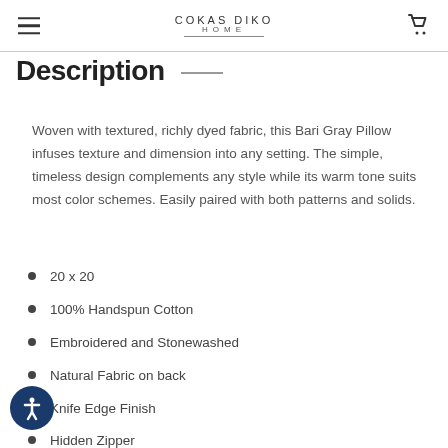COKAS DIKO HOME
Description
Woven with textured, richly dyed fabric, this Bari Gray Pillow infuses texture and dimension into any setting. The simple, timeless design complements any style while its warm tone suits most color schemes. Easily paired with both patterns and solids.
20 x 20
100% Handspun Cotton
Embroidered and Stonewashed
Natural Fabric on back
Knife Edge Finish
Hidden Zipper